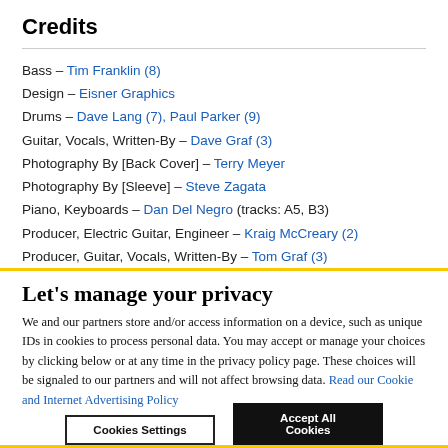Credits
Bass – Tim Franklin (8)
Design – Eisner Graphics
Drums – Dave Lang (7), Paul Parker (9)
Guitar, Vocals, Written-By – Dave Graf (3)
Photography By [Back Cover] – Terry Meyer
Photography By [Sleeve] – Steve Zagata
Piano, Keyboards – Dan Del Negro (tracks: A5, B3)
Producer, Electric Guitar, Engineer – Kraig McCreary (2)
Producer, Guitar, Vocals, Written-By – Tom Graf (3)
Producer, Keyboards – Keith Phillips (4)
Let's manage your privacy
We and our partners store and/or access information on a device, such as unique IDs in cookies to process personal data. You may accept or manage your choices by clicking below or at any time in the privacy policy page. These choices will be signaled to our partners and will not affect browsing data. Read our Cookie and Internet Advertising Policy
Cookies Settings
Accept All Cookies